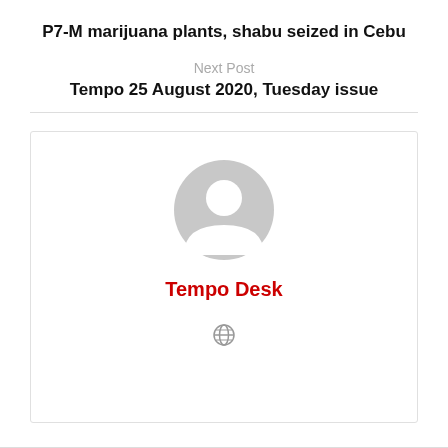P7-M marijuana plants, shabu seized in Cebu
Next Post
Tempo 25 August 2020, Tuesday issue
[Figure (illustration): Author profile card with grey placeholder avatar icon, red bold text 'Tempo Desk', and a small grey globe icon below]
Tempo Desk